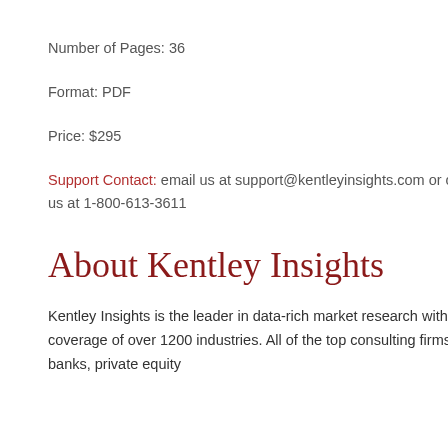Number of Pages: 36
Format: PDF
Price: $295
Support Contact: email us at support@kentleyinsights.com or call us at 1-800-613-3611
About Kentley Insights
Kentley Insights is the leader in data-rich market research with coverage of over 1200 industries. All of the top consulting firms, banks, private equity